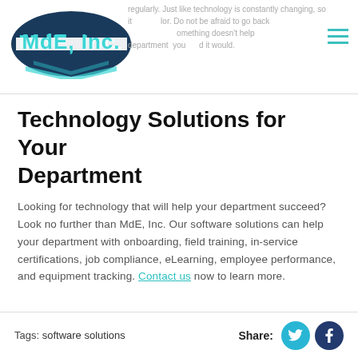MdE, Inc. — Technology Solutions for Your Department
Technology Solutions for Your Department
Looking for technology that will help your department succeed? Look no further than MdE, Inc. Our software solutions can help your department with onboarding, field training, in-service certifications, job compliance, eLearning, employee performance, and equipment tracking. Contact us now to learn more.
Tags: software solutions   Share: